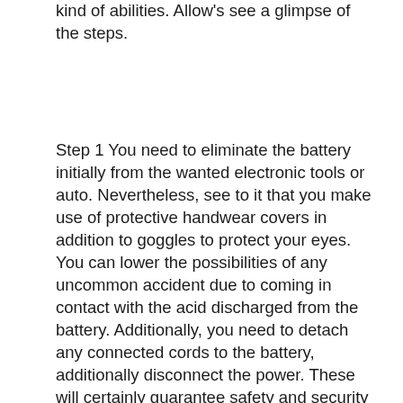kind of abilities. Allow's see a glimpse of the steps.
Step 1 You need to eliminate the battery initially from the wanted electronic tools or auto. Nevertheless, see to it that you make use of protective handwear covers in addition to goggles to protect your eyes. You can lower the possibilities of any uncommon accident due to coming in contact with the acid discharged from the battery. Additionally, you need to detach any connected cords to the battery, additionally disconnect the power. These will certainly guarantee safety and security and also stay clear of shocks.